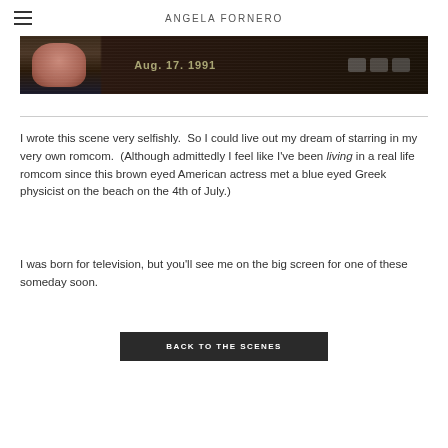ANGELA FORNERO
[Figure (photo): A dark cropped photograph strip showing partial face and background, resembling a video screenshot with timestamp overlay text visible]
I wrote this scene very selfishly.  So I could live out my dream of starring in my very own romcom.  (Although admittedly I feel like I've been living in a real life romcom since this brown eyed American actress met a blue eyed Greek physicist on the beach on the 4th of July.)
I was born for television, but you'll see me on the big screen for one of these someday soon.
BACK TO THE SCENES